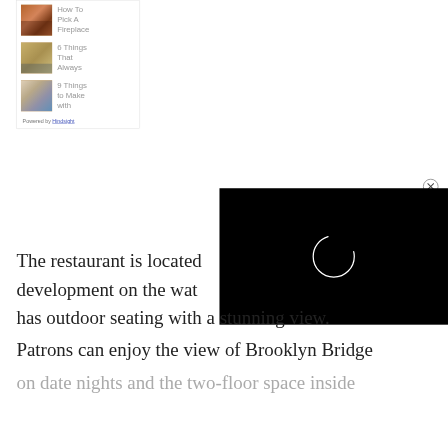[Figure (screenshot): Sidebar widget showing three article thumbnails and titles: 'How To Pick A Fireplace', '6 Things That Always', '9 Things to Make with', with 'Powered by Hindsight' at bottom]
[Figure (screenshot): Black video player panel with a loading spinner circle in the center, with an X close button in the upper right corner]
The restaurant is located development on the wat has outdoor seating with a stunning view. Patrons can enjoy the view of Brooklyn Bridge on date nights and the two-floor space inside
Powered by Hindsight